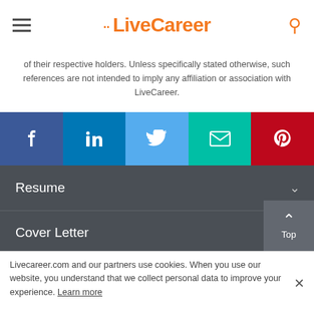LiveCareer
of their respective holders. Unless specifically stated otherwise, such references are not intended to imply any affiliation or association with LiveCareer.
[Figure (infographic): Social media share buttons: Facebook, LinkedIn, Twitter, Email, Pinterest]
Resume
Cover Letter
CV
About
Livecareer.com and our partners use cookies. When you use our website, you understand that we collect personal data to improve your experience. Learn more